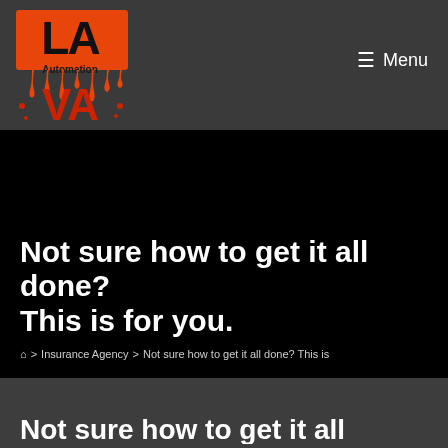[Figure (logo): LA Automation VA logo — orange and red lava drip style logo with 'LA' in black on orange background and 'VA' in red below, with 'Automation' text in the middle]
≡ Menu
Not sure how to get it all done? This is for you.
⌂ > Insurance Agency > Not sure how to get it all done? This is
Not sure how to get it all